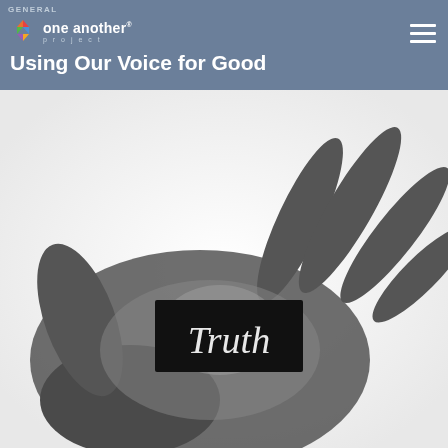GENERAL
[Figure (logo): One Another Project logo with colorful pinwheel-style icon and white text reading 'one another project']
Using Our Voice for Good
[Figure (photo): Black and white photograph of an open hand (palm up) holding a small black card with the word 'Truth' written in white serif font]